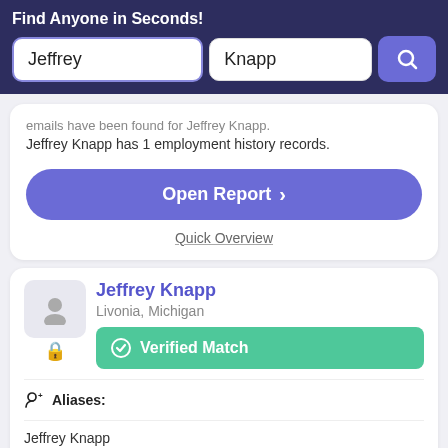Find Anyone in Seconds!
Jeffrey Knapp has 1 employment history records.
Open Report >
Quick Overview
Jeffrey Knapp
Livonia, Michigan
Verified Match
Aliases:
Jeffrey Knapp
Phone Numbers: